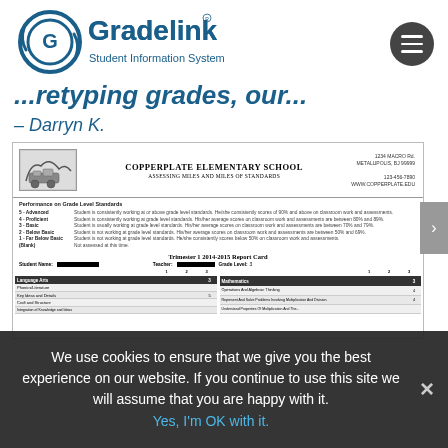[Figure (logo): Gradelink Student Information System logo with circular G emblem in dark teal and hamburger menu icon]
...retyping grades, our...
– Darryn K.
[Figure (screenshot): Screenshot of a Gradelink-generated school report card for Copperplate Elementary School, Trimester 1 2014-2015 Report Card, Grade Level 3, showing Language Arts and Mathematics grade tables with performance on grade level standards key]
We use cookies to ensure that we give you the best experience on our website. If you continue to use this site we will assume that you are happy with it. Yes, I'm OK with it.